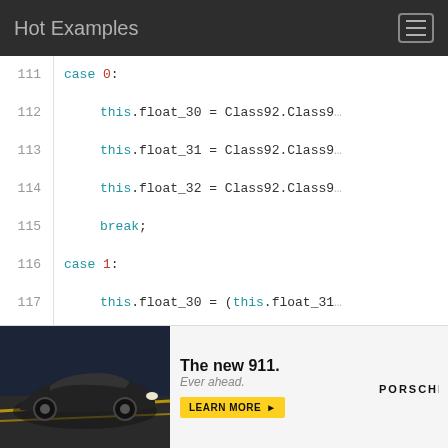Hot Examples
[Figure (screenshot): Code snippet showing a switch-case block with lines 111-126. Cases 0,1,2,3 each assign this.float_30, float_31, float_32 using Class92 references, with break statements.]
[Figure (photo): Porsche 911 advertisement. Shows car on road with text 'The new 911. Ever ahead.' and a LEARN MORE button with Porsche logo.]